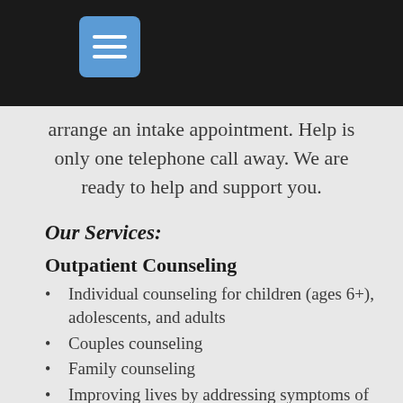arrange an intake appointment. Help is only one telephone call away. We are ready to help and support you.
Our Services:
Outpatient Counseling
Individual counseling for children (ages 6+), adolescents, and adults
Couples counseling
Family counseling
Improving lives by addressing symptoms of depression, anxiety, grief/loss, family/marital conflict, bipolar disorder, autism spectrum